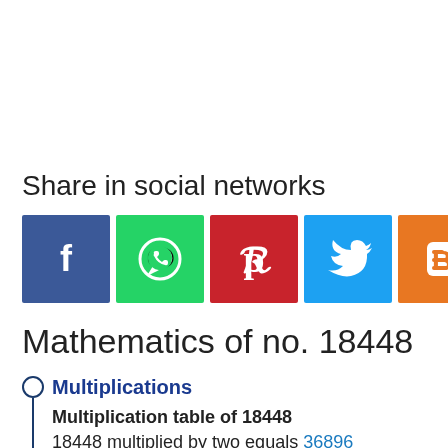Share in social networks
[Figure (infographic): Row of 7 social network share icons: Facebook (blue), WhatsApp (green), Pinterest (red), Twitter (light blue), Blogger (orange), Link/chain (blue), Bookmark/star (gold)]
Mathematics of no. 18448
Multiplications
Multiplication table of 18448
18448 multiplied by two equals 36896
(18448 x 2 = 36896)